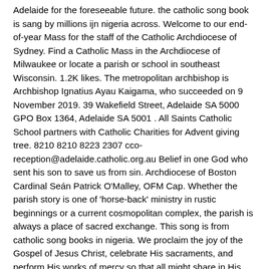Adelaide for the foreseeable future. the catholic song book is sang by millions ijn nigeria across. Welcome to our end-of-year Mass for the staff of the Catholic Archdiocese of Sydney. Find a Catholic Mass in the Archdiocese of Milwaukee or locate a parish or school in southeast Wisconsin. 1.2K likes. The metropolitan archbishop is Archbishop Ignatius Ayau Kaigama, who succeeded on 9 November 2019. 39 Wakefield Street, Adelaide SA 5000 GPO Box 1364, Adelaide SA 5001 . All Saints Catholic School partners with Catholic Charities for Advent giving tree. 8210 8210 8223 2307 cco-reception@adelaide.catholic.org.au Belief in one God who sent his son to save us from sin. Archdiocese of Boston Cardinal Seán Patrick O'Malley, OFM Cap. Whether the parish story is one of 'horse-back' ministry in rustic beginnings or a current cosmopolitan complex, the parish is always a place of sacred exchange. This song is from catholic song books in nigeria. We proclaim the joy of the Gospel of Jesus Christ, celebrate His sacraments, and perform His works of mercy so that all might share in His salvation and experience eternal happiness with Him. Support the Annual Catholic Appeal; Planned Giving; Support Our Schools; News & Information. Abuja, Federal Capital Territory, Nigeria. General Information. Catholic Services Appeal The Catholic Services Appeal provides an opportunity to respond to our call as Catholics to